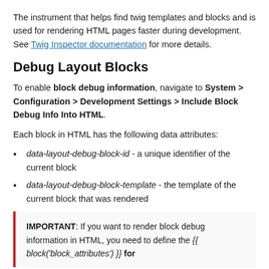The instrument that helps find twig templates and blocks and is used for rendering HTML pages faster during development. See Twig Inspector documentation for more details.
Debug Layout Blocks
To enable block debug information, navigate to System > Configuration > Development Settings > Include Block Debug Info Into HTML.
Each block in HTML has the following data attributes:
data-layout-debug-block-id - a unique identifier of the current block
data-layout-debug-block-template - the template of the current block that was rendered
IMPORTANT: If you want to render block debug information in HTML, you need to define the {{ block('block_attributes') }} for